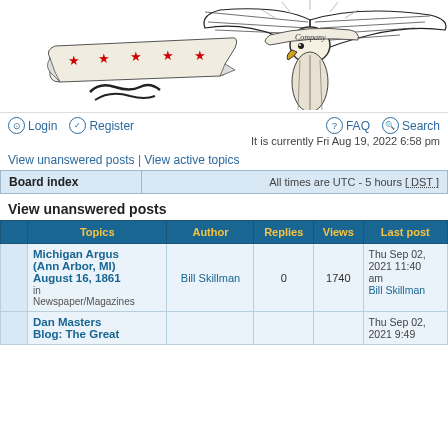[Figure (illustration): Forum website header image featuring an eagle with spread wings, a banner with red stars, 'Company' text on a ribbon, decorative engraving style illustration in black and white]
Login  Register  FAQ  Search
It is currently Fri Aug 19, 2022 6:58 pm
View unanswered posts | View active topics
| Board index | All times are UTC - 5 hours [ DST ] |
| --- | --- |
View unanswered posts
|  | Topics | Author | Replies | Views | Last post |
| --- | --- | --- | --- | --- | --- |
|  | Michigan Argus (Ann Arbor, MI) August 16, 1861
in Newspaper/Magazines | Bill Skillman | 0 | 1740 | Thu Sep 02, 2021 11:40 am
Bill Skillman |
|  | Dan Masters Blog: The Great |  |  |  | Thu Sep 02, 2021 9:49 |